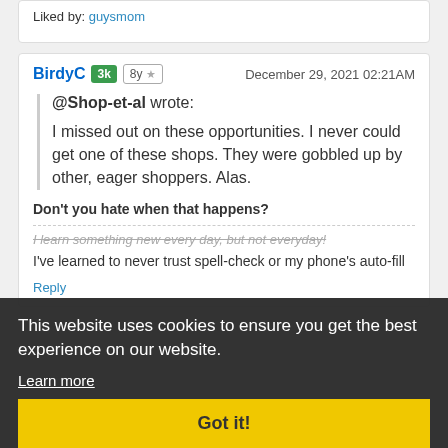Liked by: guysmom
BirdyC   3k   8y ★   December 29, 2021 02:21AM
@Shop-et-al wrote:
I missed out on these opportunities. I never could get one of these shops. They were gobbled up by other, eager shoppers. Alas.
Don't you hate when that happens?
I learn something new every day, but not everyday!
I've learned to never trust spell-check or my phone's auto-fill
Reply
This website uses cookies to ensure you get the best experience on our website. Learn more
Got it!